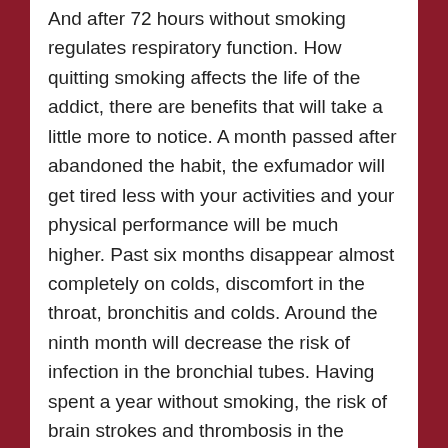And after 72 hours without smoking regulates respiratory function. How quitting smoking affects the life of the addict, there are benefits that will take a little more to notice. A month passed after abandoned the habit, the exfumador will get tired less with your activities and your physical performance will be much higher. Past six months disappear almost completely on colds, discomfort in the throat, bronchitis and colds. Around the ninth month will decrease the risk of infection in the bronchial tubes. Having spent a year without smoking, the risk of brain strokes and thrombosis in the exfumador will decrease, as well as of infarction will be reduced by half. Since knowing it helps to quit smoking, the benefits experienced after five years without smoking are notable, such as that the risk of infarction will equal to the of those who never have smoked, and to decrease after the risk of lung cancer...